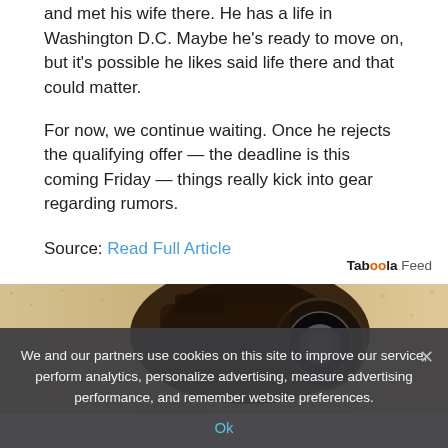and met his wife there. He has a life in Washington D.C. Maybe he's ready to move on, but it's possible he likes said life there and that could matter.
For now, we continue waiting. Once he rejects the qualifying offer — the deadline is this coming Friday — things really kick into gear regarding rumors.
Source: Read Full Article
[Figure (photo): Sepia-toned photo of an old camera or mechanical object mounted on a textured stone or stucco wall]
Taboola Feed
We and our partners use cookies on this site to improve our service, perform analytics, personalize advertising, measure advertising performance, and remember website preferences.
Ok